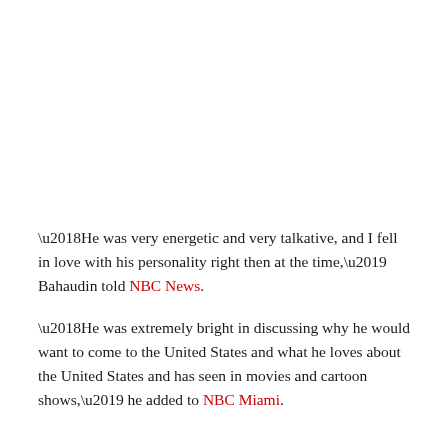‘He was very energetic and very talkative, and I fell in love with his personality right then at the time,’ Bahaudin told NBC News.
‘He was extremely bright in discussing why he would want to come to the United States and what he loves about the United States and has seen in movies and cartoon shows,’ he added to NBC Miami.